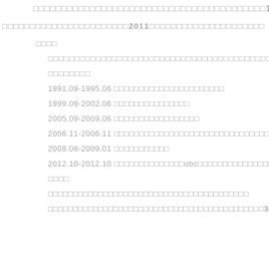第151页（共页）
2011年
姓名
研究方向及主要成果
研究领域
1991.09-1995.06 本科毕业于某某大学某某专业
1999.09-2002.06 硕士毕业于某某大学
2005.09-2009.06 博士毕业于某某大学某某
2006.11-2006.11 赴某某国某某大学某某研究所访问学者
2008.08-2009.01 某某大学访问
2012.10-2012.10 赴某某国某某大学ubc某某研究所访问学者
工作经历
某某大学某某学院某某系某某专业任职
某某大学某某学院某某系某某专业担任3年